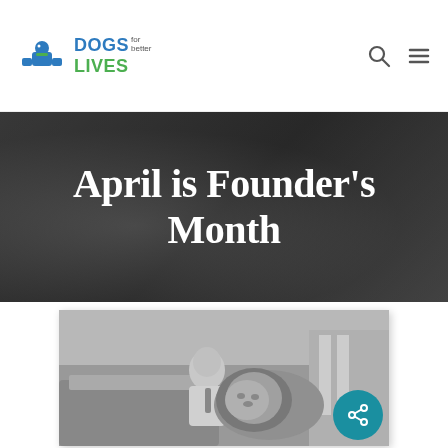Dogs for Better Lives
April is Founder's Month
[Figure (photo): Black and white vintage photograph of a man in a suit crouching beside a large lion outdoors with hay bales in background]